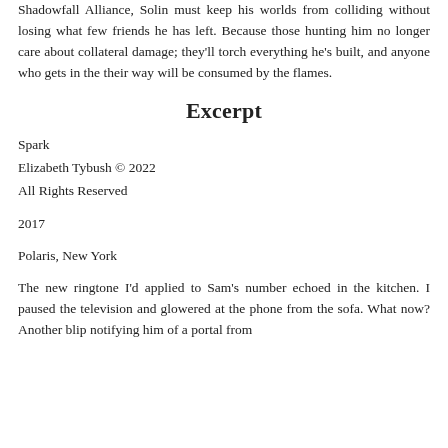Shadowfall Alliance, Solin must keep his worlds from colliding without losing what few friends he has left. Because those hunting him no longer care about collateral damage; they'll torch everything he's built, and anyone who gets in the their way will be consumed by the flames.
Excerpt
Spark
Elizabeth Tybush © 2022
All Rights Reserved
2017
Polaris, New York
The new ringtone I'd applied to Sam's number echoed in the kitchen. I paused the television and glowered at the phone from the sofa. What now? Another blip notifying him of a portal from